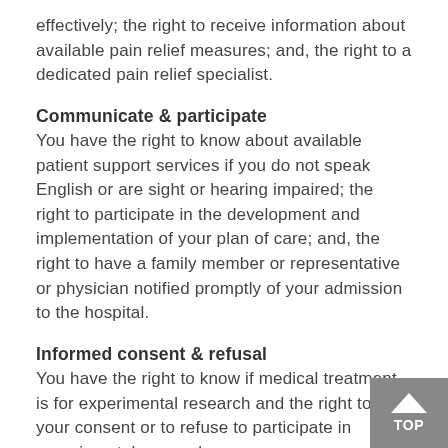effectively; the right to receive information about available pain relief measures; and, the right to a dedicated pain relief specialist.
Communicate & participate
You have the right to know about available patient support services if you do not speak English or are sight or hearing impaired; the right to participate in the development and implementation of your plan of care; and, the right to have a family member or representative or physician notified promptly of your admission to the hospital.
Informed consent & refusal
You have the right to know if medical treatment is for experimental research and the right to give your consent or to refuse to participate in experimental research.